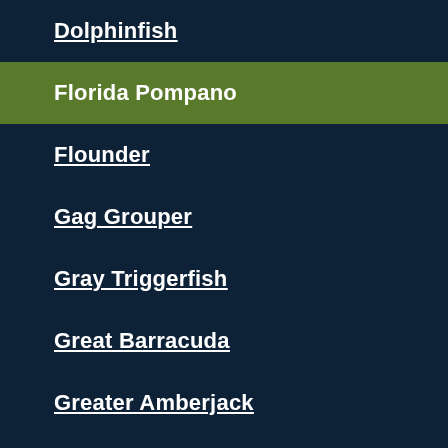Dolphinfish
Florida Pompano
Flounder
Gag Grouper
Gray Triggerfish
Great Barracuda
Greater Amberjack
Hogfish